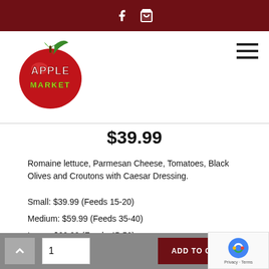Apple Market website header with Facebook and cart icons
[Figure (logo): Apple Market logo: red apple with green leaf and 'APPLE MARKET' text in stylized font]
$39.99
Romaine lettuce, Parmesan Cheese, Tomatoes, Black Olives and Croutons with Caesar Dressing.
Small: $39.99 (Feeds 15-20)
Medium: $59.99 (Feeds 35-40)
Large: $69.99 (Feeds 45-50)
1  ADD TO CART